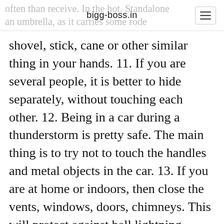bigg-boss.in
shovel, stick, cane or other similar thing in your hands. 11. If you are several people, it is better to hide separately, without touching each other. 12. Being in a car during a thunderstorm is pretty safe. The main thing is to try not to touch the handles and metal objects in the car. 13. If you are at home or indoors, then close the vents, windows, doors, chimneys. This will protect against ball lightning entering the house. 14. When struck by lightning, a